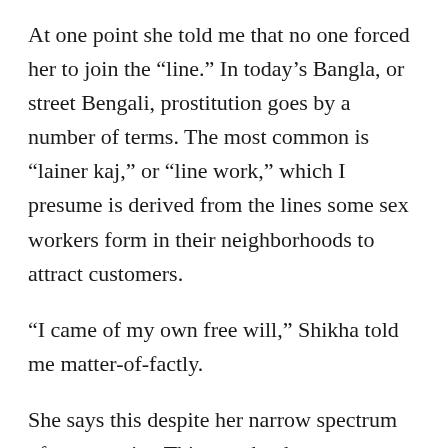At one point she told me that no one forced her to join the “line.” In today’s Bangla, or street Bengali, prostitution goes by a number of terms. The most common is “lainer kaj,” or “line work,” which I presume is derived from the lines some sex workers form in their neighborhoods to attract customers.
“I came of my own free will,” Shikha told me matter-of-factly.
She says this despite her narrow spectrum of opportunity. This may be the most troubling statement she made.
Shamita Das Dasgupta co-founded Manavi, an organization focusing on violence against women in the South Asian community in New Jersey in 1985, and is